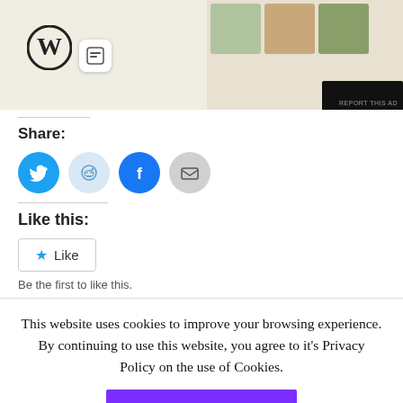[Figure (screenshot): Ad image showing WordPress logo, a small icon, and food/lifestyle product thumbnails on a beige background with 'REPORT THIS AD' text]
Share:
[Figure (infographic): Social sharing icon buttons: Twitter (blue circle), Reddit (light blue circle), Facebook (blue circle), Email (grey circle)]
Like this:
[Figure (screenshot): WordPress Like button widget showing a star icon and 'Like' text, with 'Be the first to like this.' below]
This website uses cookies to improve your browsing experience. By continuing to use this website, you agree to it's Privacy Policy on the use of Cookies.
Close & Accept
For more information, check the
Privacy & Cookie Policy page